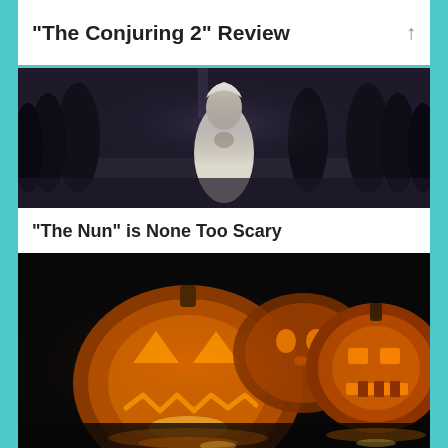“The Conjuring 2” Review
[Figure (photo): Movie still from a horror film showing a figure in white dress surrounded by dark-robed figures in a dimly lit setting]
“The Nun” is None Too Scary
[Figure (photo): Photograph of two illuminated jack-o-lanterns with carved faces glowing orange against a dark background, with reflections on a wet surface]
How to Pick Your Halloween Date Movie
[Figure (photo): Partially visible photo showing a sky or landscape scene]